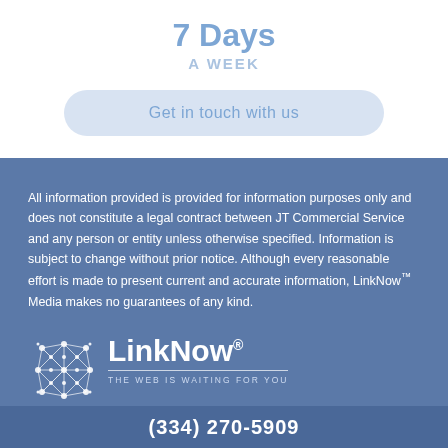7 Days
A WEEK
Get in touch with us
All information provided is provided for information purposes only and does not constitute a legal contract between JT Commercial Service and any person or entity unless otherwise specified. Information is subject to change without prior notice. Although every reasonable effort is made to present current and accurate information, LinkNow™ Media makes no guarantees of any kind.
[Figure (logo): LinkNow Media logo with network icon and tagline THE WEB IS WAITING FOR YOU]
(334) 270-5909